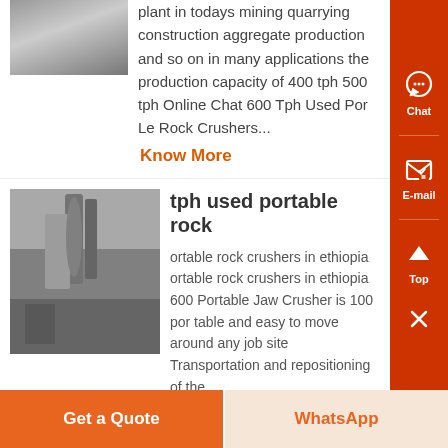[Figure (photo): Thumbnail image of mining/industrial equipment at top left]
plant in todays mining quarrying construction aggregate production and so on in many applications the production capacity of 400 tph 500 tph Online Chat 600 Tph Used Por Le Rock Crushers...
Know More
[Figure (photo): Industrial building interior with large machinery/crusher equipment, black and white photo]
tph used portable rock
ortable rock crushers in ethiopia ortable rock crushers in ethiopia 600 Portable Jaw Crusher is 100 por table and easy to move around any job site Transportation and repositioning of the